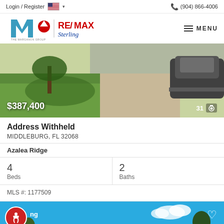Login / Register  (904) 866-4006
[Figure (logo): RE/MAX Sterling - The Marganon Group logo with hamburger menu]
[Figure (photo): Exterior photo of property showing lawn, tree, driveway, and car. Price $387,400 and photo count 31 displayed.]
Address Withheld
MIDDLEBURG, FL 32068
Azalea Ridge
4 Beds  2 Baths
MLS #: 1177509
[Figure (photo): Partial view of another property listing photo showing blue sky and trees, with accessibility icon and heart/favorite icon]